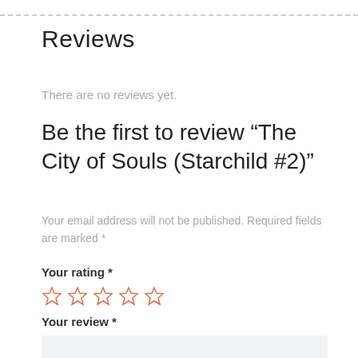Reviews
There are no reviews yet.
Be the first to review “The City of Souls (Starchild #2)”
Your email address will not be published. Required fields are marked *
Your rating *
[Figure (other): Five empty star rating icons in orange/coral outline]
Your review *
[Figure (other): Empty text area input box with light gray background]